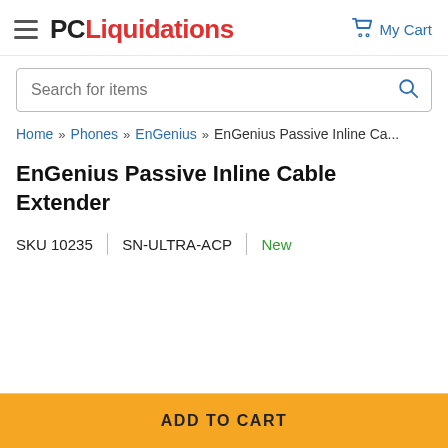PC Liquidations — My Cart
Search for items
Home » Phones » EnGenius » EnGenius Passive Inline Ca...
EnGenius Passive Inline Cable Extender
SKU 10235 | SN-ULTRA-ACP | New
ADD TO CART